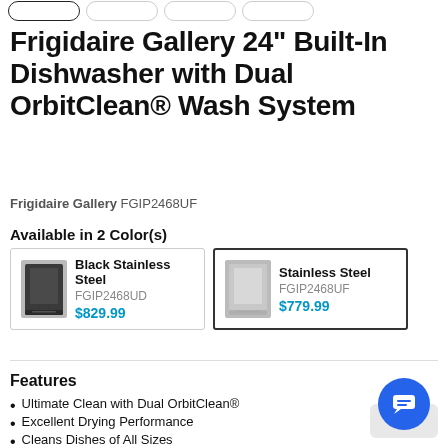Frigidaire Gallery 24" Built-In Dishwasher with Dual OrbitClean® Wash System
Frigidaire Gallery FGIP2468UF
Available in 2 Color(s)
| Color | SKU | Price |
| --- | --- | --- |
| Black Stainless Steel | FGIP2468UD | $829.99 |
| Stainless Steel | FGIP2468UF | $779.99 |
Features
Ultimate Clean with Dual OrbitClean®
Excellent Drying Performance
Cleans Dishes of All Sizes
Time Saving 34-Minute Quick Wash